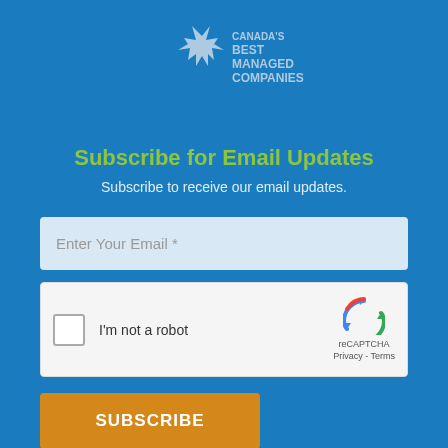[Figure (logo): Canada's Best Managed Companies logo with maple leaf icon]
Subscribe for Email Updates
Subscribe to receive our email updates.
Enter Your Email *
[Figure (other): reCAPTCHA widget with checkbox 'I'm not a robot' and reCAPTCHA logo with Privacy - Terms links]
SUBSCRIBE